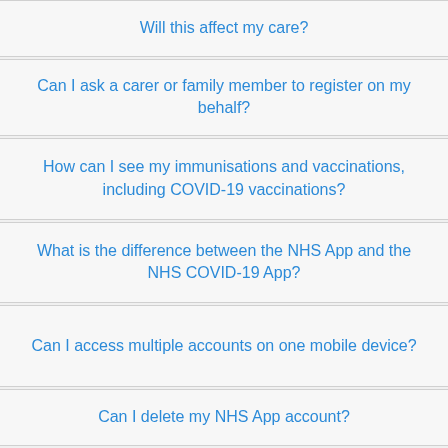Will this affect my care?
Can I ask a carer or family member to register on my behalf?
How can I see my immunisations and vaccinations, including COVID-19 vaccinations?
What is the difference between the NHS App and the NHS COVID-19 App?
Can I access multiple accounts on one mobile device?
Can I delete my NHS App account?